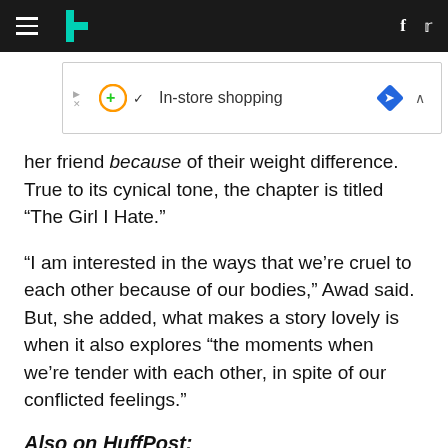HuffPost navigation header
[Figure (screenshot): Browser ad bar showing play icon, green plus/circle icon, checkmark, 'In-store shopping' text, blue diamond navigation icon, and up caret.]
her friend because of their weight difference. True to its cynical tone, the chapter is titled “The Girl I Hate.”
“I am interested in the ways that we’re cruel to each other because of our bodies,” Awad said. But, she added, what makes a story lovely is when it also explores “the moments when we’re tender with each other, in spite of our conflicted feelings.”
Also on HuffPost: